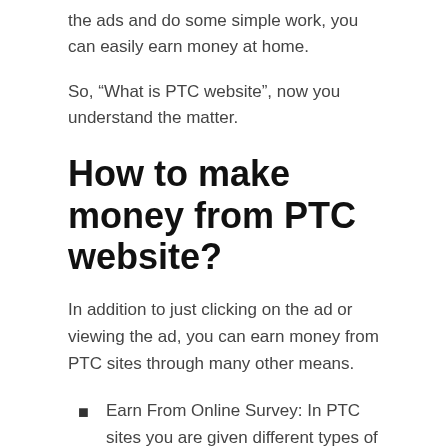the ads and do some simple work, you can easily earn money at home.
So, “What is PTC website”, now you understand the matter.
How to make money from PTC website?
In addition to just clicking on the ad or viewing the ad, you can earn money from PTC sites through many other means.
Earn From Online Survey: In PTC sites you are given different types of survey work. These surveys will ask you a variety of questions. And, if you complete each survey well, you are paid about ⑗ 0.5 to ⑗ 2 per 5 to 10 minute survey